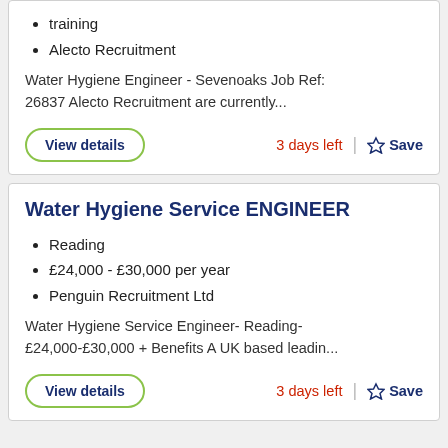training
Alecto Recruitment
Water Hygiene Engineer - Sevenoaks Job Ref: 26837 Alecto Recruitment are currently...
View details
3 days left
Save
Water Hygiene Service ENGINEER
Reading
£24,000 - £30,000 per year
Penguin Recruitment Ltd
Water Hygiene Service Engineer- Reading- £24,000-£30,000 + Benefits A UK based leadin...
View details
3 days left
Save